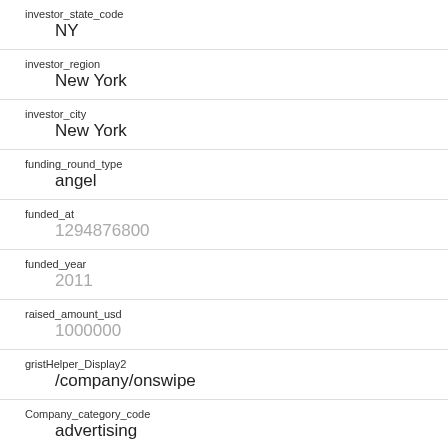investor_state_code
NY
investor_region
New York
investor_city
New York
funding_round_type
angel
funded_at
1294876800
funded_year
2011
raised_amount_usd
1000000
gristHelper_Display2
/company/onswipe
Company_category_code
advertising
Investor
betaworks